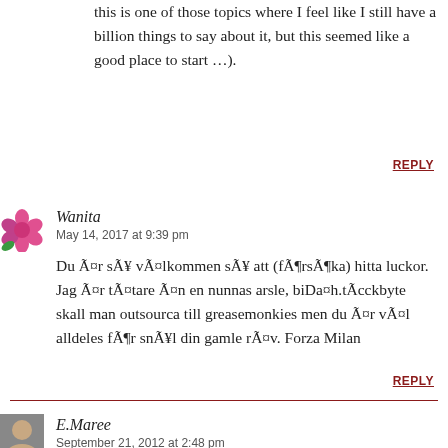this is one of those topics where I feel like I still have a billion things to say about it, but this seemed like a good place to start …).
REPLY
Wanita
May 14, 2017 at 9:39 pm
Du Ã¤r sÃ¥ vÃ¤lkommen sÃ¥ att (fÃ¶rsÃ¶ka) hitta luckor. Jag Ã¤r tÃ¤tare Ã¤n en nunnas arsle, biDa¤h.tÃcckbyte skall man outsourca till greasemonkies men du Ã¤r vÃ¤l alldeles fÃ¶r snÃ¥l din gamle rÃ¤v. Forza Milan
REPLY
E.Maree
September 21, 2012 at 2:48 pm